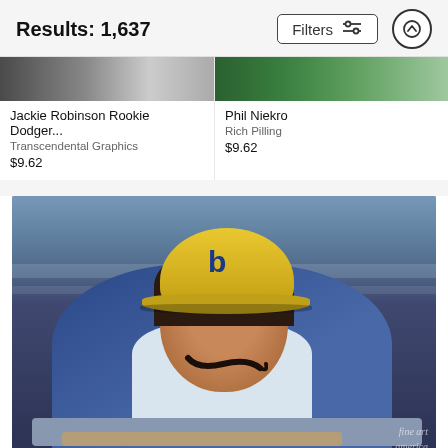Results: 1,637
Filters
Jackie Robinson Rookie Dodger...
Transcendental Graphics
$9.62
Phil Niekro
Rich Pilling
$9.62
[Figure (photo): Baseball player wearing Milwaukee Brewers yellow cap and blue uniform, leaning on dugout railing, with curly mustache, smiling. Fine Art America watermark visible.]
fine art
america